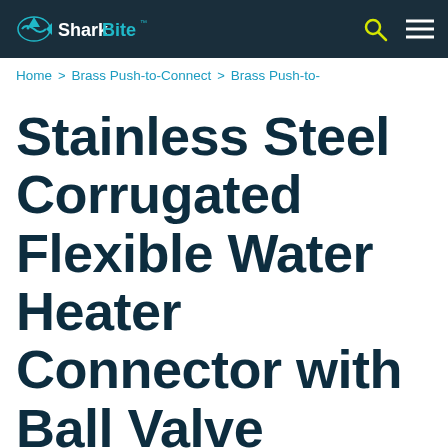SharkBite
Home > Brass Push-to-Connect > Brass Push-to-
Stainless Steel Corrugated Flexible Water Heater Connector with Ball Valve